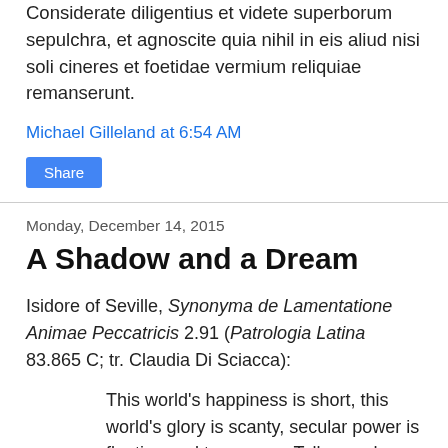Considerate diligentius et videte superborum sepulchra, et agnoscite quia nihil in eis aliud nisi soli cineres et foetidae vermium reliquiae remanserunt.
Michael Gilleland at 6:54 AM
Share
Monday, December 14, 2015
A Shadow and a Dream
Isidore of Seville, Synonyma de Lamentatione Animae Peccatricis 2.91 (Patrologia Latina 83.865 C; tr. Claudia Di Sciacca):
This world's happiness is short, this world's glory is scanty, secular power is fleeting and temporary. Tell me, where are the kings? Where (are) the princes? Where (are) the emperors? Where (are) the rich in possessions? Where (are) the powerful of this world? They passed